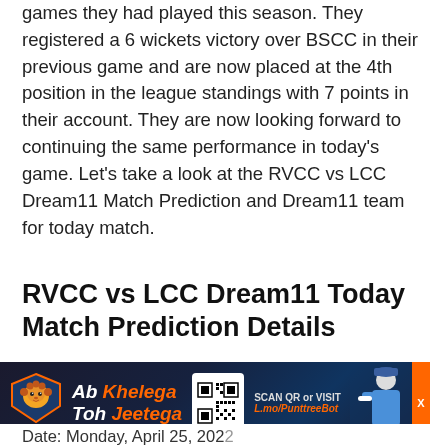games they had played this season. They registered a 6 wickets victory over BSCC in their previous game and are now placed at the 4th position in the league standings with 7 points in their account. They are now looking forward to continuing the same performance in today's game. Let's take a look at the RVCC vs LCC Dream11 Match Prediction and Dream11 team for today match.
RVCC vs LCC Dream11 Today Match Prediction Details
[Figure (infographic): Punttree advertisement banner with lion logo, 'Ab Khelega Toh Jeetega' slogan, QR code, 'SCAN QR or VISIT L.mo/PunttreeBot' text, baseball player photo, and orange close button]
Date: Monday, April 25, 2022